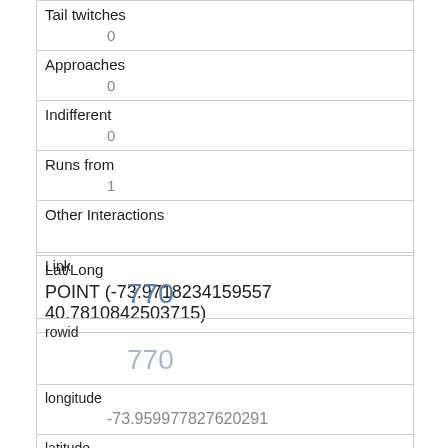| Tail twitches | 0 |
| Approaches | 0 |
| Indifferent | 0 |
| Runs from | 1 |
| Other Interactions |  |
| Lat/Long | POINT (-73.9718234159557 40.7810842503715) |
| Link | 770 |
| rowid | 770 |
| longitude | -73.959977827620291 |
| latitude | 40.70207733767571 |